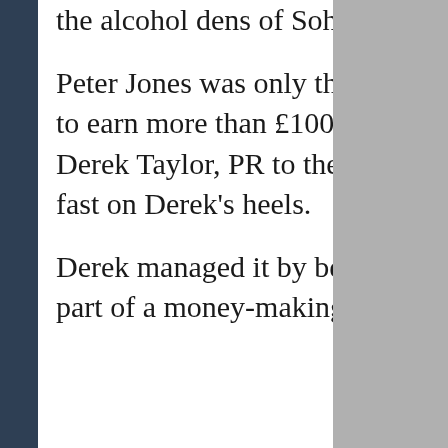the alcohol dens of Soho.
Peter Jones was only the second person I knew to earn more than £100 a week. The first was Derek Taylor, PR to the Beatles. But Peter was fast on Derek's heels.
Derek managed it by being a supremely talented part of a money-making machine.